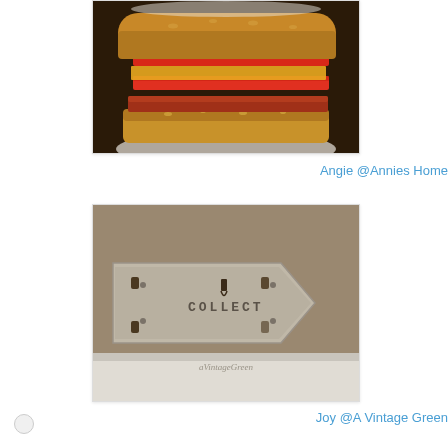[Figure (photo): Close-up photo of a sandwich with red bell pepper strips, melted cheese and bacon on a toasted bun, served on a white plate]
Angie @Annies Home
[Figure (photo): Photo of a rustic wooden arrow-shaped sign that says COLLECT with metal hooks attached, branded aVintageGreen]
Joy @A Vintage Green